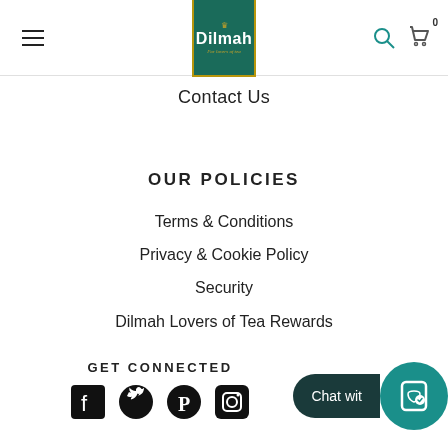[Figure (logo): Dilmah tea brand logo - green square with gold border, crown crest, white Dilmah text, gold italic 'For lovers of tea' tagline]
Contact Us
OUR POLICIES
Terms & Conditions
Privacy & Cookie Policy
Security
Dilmah Lovers of Tea Rewards
GET CONNECTED
[Figure (illustration): Social media icons: Facebook, Twitter, Pinterest, Instagram]
[Figure (other): Chat with us button overlay with teal shopping bag icon]